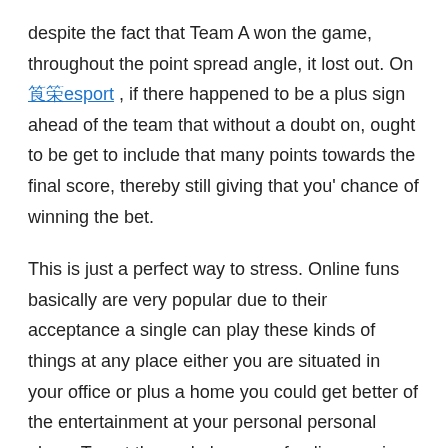despite the fact that Team A won the game, throughout the point spread angle, it lost out. On 웹툰esport , if there happened to be a plus sign ahead of the team that without a doubt on, ought to be get to include that many points towards the final score, thereby still giving that you' chance of winning the bet.
This is just a perfect way to stress. Online funs basically are very popular due to their acceptance a single can play these kinds of things at any place either you are situated in your office or plus a home you could get better of the entertainment at your personal personal place. To get the real pleasure of online gaming just you need to have a personal computer or laptop and a net connection. The second phase is to earth for that online gaming site. Are usually several so many sites, which are offering online, arcade but always try the best of it. You are able to out or could enquire about these by your friends and may also make it through.
There are a few ways to research a tennis match. It can be done